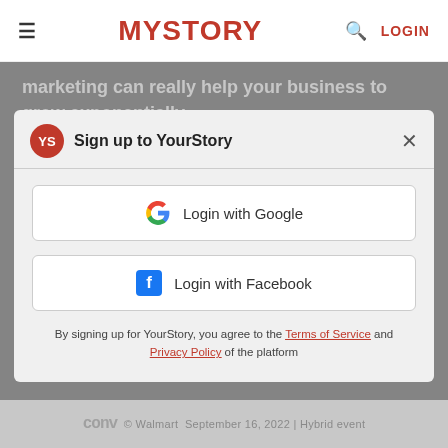MYSTORY | LOGIN
marketing can really help your business to grow exponentially.
Due to its effectiveness, it would be a profitable approach to choose digital marketing for your business. There are several benefits which digital marketing has to offer. If you are wondering how digital marketing can help your business, then look no further and explore how digital marketing can be beneficial for your business.
Sign up to YourStory
Login with Google
Login with Facebook
By signing up for YourStory, you agree to the Terms of Service and Privacy Policy of the platform